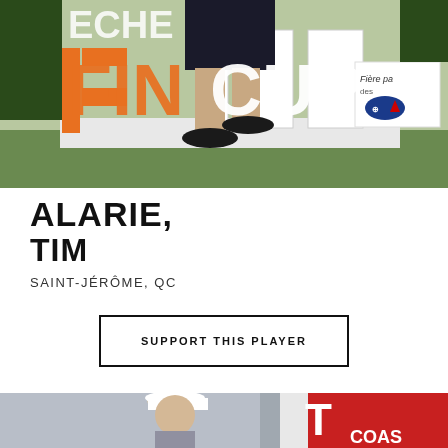[Figure (photo): A golfer's lower body walking in front of large orange and white 'FINCUP' letters on a grass area, with a 'Fière pa...' sponsor sign in the background.]
ALARIE,
TIM
SAINT-JÉRÔME, QC
SUPPORT THIS PLAYER
[Figure (photo): A golfer in a white cap near a red and white sponsor sign reading 'COAS...' (partially visible).]